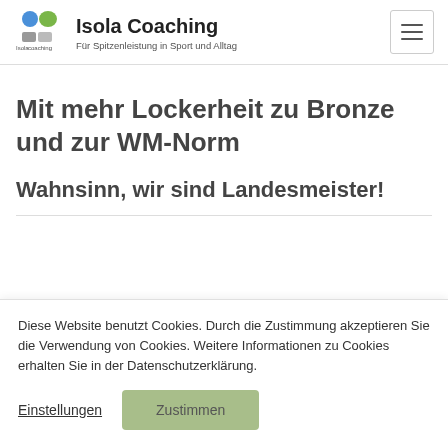Isola Coaching – Für Spitzenleistung in Sport und Alltag
Mit mehr Lockerheit zu Bronze und zur WM-Norm
Wahnsinn, wir sind Landesmeister!
Diese Website benutzt Cookies. Durch die Zustimmung akzeptieren Sie die Verwendung von Cookies. Weitere Informationen zu Cookies erhalten Sie in der Datenschutzerklärung.
Einstellungen  Zustimmen